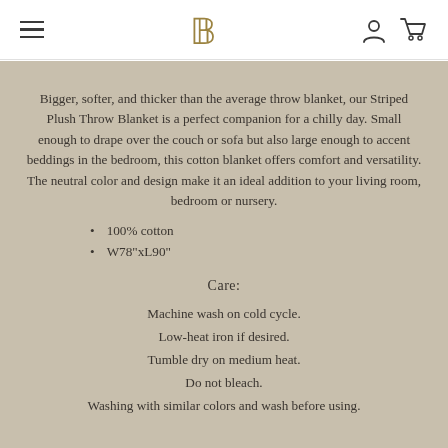B (logo with hamburger menu, account icon, cart icon)
Bigger, softer, and thicker than the average throw blanket, our Striped Plush Throw Blanket is a perfect companion for a chilly day. Small enough to drape over the couch or sofa but also large enough to accent beddings in the bedroom, this cotton blanket offers comfort and versatility. The neutral color and design make it an ideal addition to your living room, bedroom or nursery.
100% cotton
W78"xL90"
Care:
Machine wash on cold cycle.
Low-heat iron if desired.
Tumble dry on medium heat.
Do not bleach.
Washing with similar colors and wash before using.